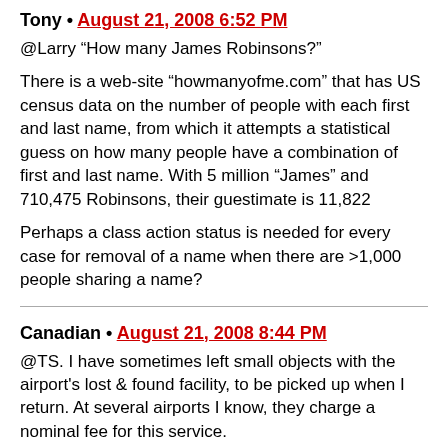Tony • August 21, 2008 6:52 PM
@Larry “How many James Robinsons?”

There is a web-site “howmanyofme.com” that has US census data on the number of people with each first and last name, from which it attempts a statistical guess on how many people have a combination of first and last name. With 5 million “James” and 710,475 Robinsons, their guestimate is 11,822

Perhaps a class action status is needed for every case for removal of a name when there are >1,000 people sharing a name?
Canadian • August 21, 2008 8:44 PM
@TS. I have sometimes left small objects with the airport's lost & found facility, to be picked up when I return. At several airports I know, they charge a nominal fee for this service.
2SecureHealth • August 21, 2008 9:30 PM
They even got airplanes. Found: a TSA employee was...